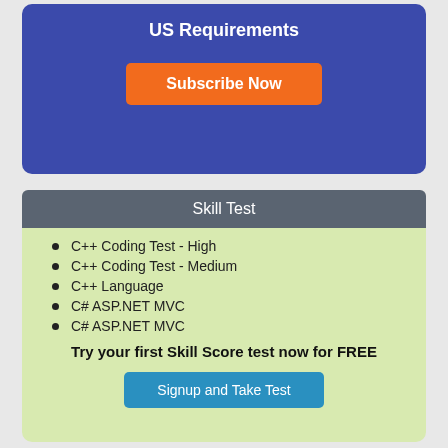US Requirements
Subscribe Now
Skill Test
C++ Coding Test - High
C++ Coding Test - Medium
C++ Language
C# ASP.NET MVC
C# ASP.NET MVC
Try your first Skill Score test now for FREE
Signup and Take Test